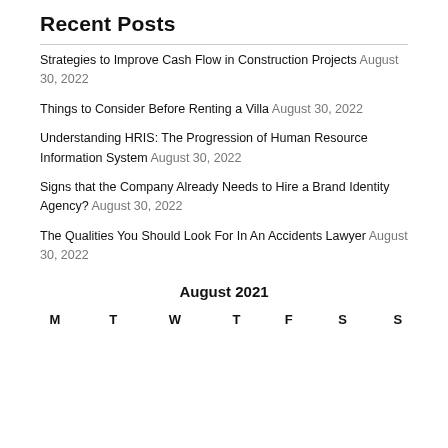Recent Posts
Strategies to Improve Cash Flow in Construction Projects August 30, 2022
Things to Consider Before Renting a Villa August 30, 2022
Understanding HRIS: The Progression of Human Resource Information System August 30, 2022
Signs that the Company Already Needs to Hire a Brand Identity Agency? August 30, 2022
The Qualities You Should Look For In An Accidents Lawyer August 30, 2022
August 2021
| M | T | W | T | F | S | S |
| --- | --- | --- | --- | --- | --- | --- |